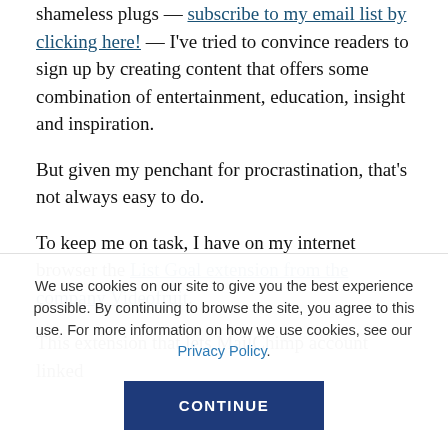shameless plugs — subscribe to my email list by clicking here! — I've tried to convince readers to sign up by creating content that offers some combination of entertainment, education, insight and inspiration.
But given my penchant for procrastination, that's not always easy to do.
To keep me on task, I have on my internet browser the List Goal extension from the company Videofruit.
We use cookies on our site to give you the best experience possible. By continuing to browse the site, you agree to this use. For more information on how we use cookies, see our Privacy Policy.